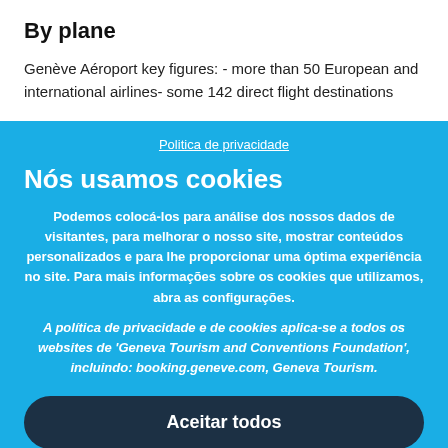By plane
Genève Aéroport key figures: - more than 50 European and international airlines- some 142 direct flight destinations
Politica de privacidade
Nós usamos cookies
Podemos colocá-los para análise dos nossos dados de visitantes, para melhorar o nosso site, mostrar conteúdos personalizados e para lhe proporcionar uma óptima experiência no site. Para mais informações sobre os cookies que utilizamos, abra as configurações.
A política de privacidade e de cookies aplica-se a todos os websites de 'Geneva Tourism and Conventions Foundation', incluindo: booking.geneve.com, Geneva Tourism.
Aceitar todos
Não, ajustar